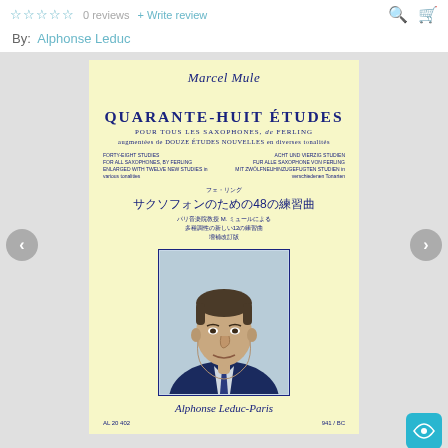☆☆☆☆☆  0 reviews  + Write review
By:  Alphonse Leduc
[Figure (illustration): Book cover for Marcel Mule's Quarante-Huit Études pour tous les saxophones, de Ferling, augmentées de Douze Études Nouvelles en diverses tonalités. Yellow cover with title in French, English, German, and Japanese translations. Portrait photograph of Marcel Mule at bottom center. Publisher: Alphonse Leduc-Paris. AL 20402.]